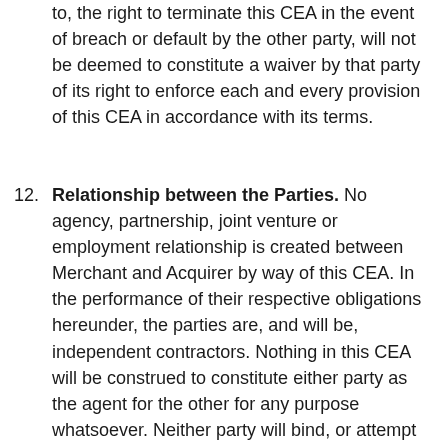to, the right to terminate this CEA in the event of breach or default by the other party, will not be deemed to constitute a waiver by that party of its right to enforce each and every provision of this CEA in accordance with its terms.
12. Relationship between the Parties. No agency, partnership, joint venture or employment relationship is created between Merchant and Acquirer by way of this CEA. In the performance of their respective obligations hereunder, the parties are, and will be, independent contractors. Nothing in this CEA will be construed to constitute either party as the agent for the other for any purpose whatsoever. Neither party will bind, or attempt to bind, the other party to any contract or the performance of any obligation, and neither party will